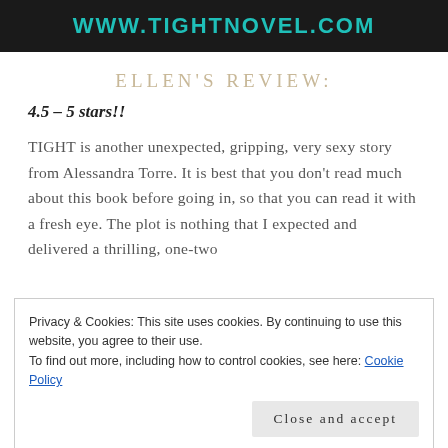[Figure (other): Dark banner with teal/cyan URL text reading WWW.TIGHTNOVEL.COM]
ELLEN'S REVIEW:
4.5 – 5 stars!!
TIGHT is another unexpected, gripping, very sexy story from Alessandra Torre. It is best that you don't read much about this book before going in, so that you can read it with a fresh eye. The plot is nothing that I expected and delivered a thrilling, one-two
Privacy & Cookies: This site uses cookies. By continuing to use this website, you agree to their use.
To find out more, including how to control cookies, see here: Cookie Policy
books by Ms. Torre, there are other factors at play